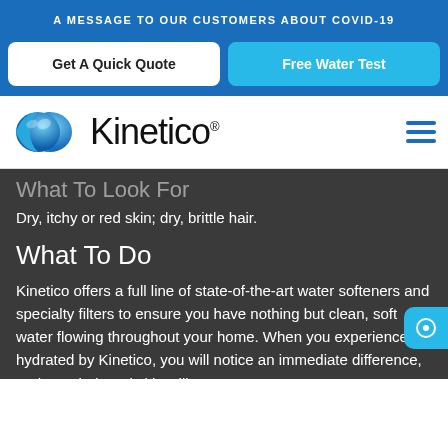A MESSAGE TO OUR CUSTOMERS ABOUT COVID-19
Get A Quick Quote
Free Water Test
[Figure (logo): Kinetico logo with blue chevron/waterdrop icon and Kinetico wordmark with registered trademark symbol, plus hamburger menu icon]
What To Look For
Dry, itchy or red skin; dry, brittle hair.
What To Do
Kinetico offers a full line of state-of-the-art water softeners and specialty filters to ensure you have nothing but clean, soft water flowing throughout your home. When you experience life hydrated by Kinetico, you will notice an immediate difference, and your hair and skin will